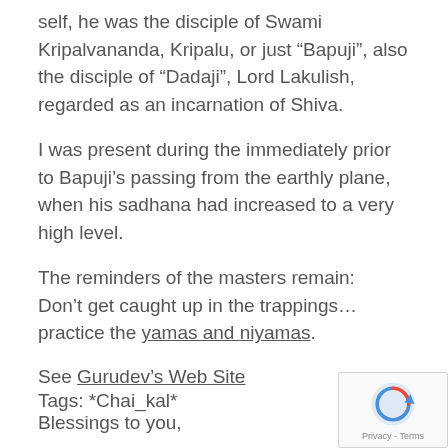self, he was the disciple of Swami Kripalvananda, Kripalu, or just “Bapuji”, also the disciple of “Dadaji”, Lord Lakulish, regarded as an incarnation of Shiva.
I was present during the immediately prior to Bapuji’s passing from the earthly plane, when his sadhana had increased to a very high level.
The reminders of the masters remain:
Don’t get caught up in the trappings… practice the yamas and niyamas.
See Gurudev’s Web Site
Blessings to you,
Tags: *Chai_kal*
[Figure (other): reCAPTCHA badge with refresh icon and Privacy - Terms text]